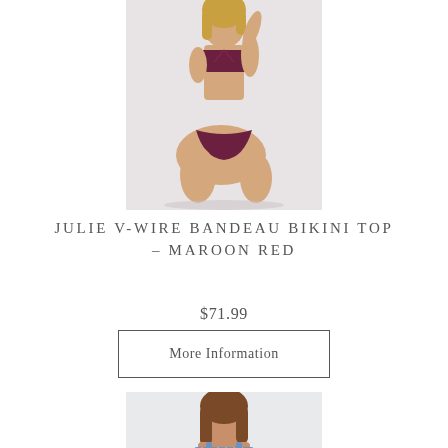[Figure (photo): Model wearing maroon red bandeau bikini top, seated pose on light background]
JULIE V-WIRE BANDEAU BIKINI TOP – MAROON RED
$71.99
More Information
[Figure (photo): Model wearing blue gingham/checkered bikini top, partial view from shoulders up]